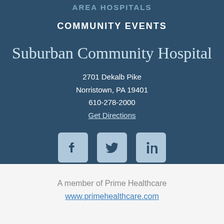AREA HOSPITALS
COMMUNITY EVENTS
Suburban Community Hospital
2701 Dekalb Pike
Norristown, PA 19401
610-278-2000
Get Directions
[Figure (illustration): Social media icons: Facebook, Twitter, LinkedIn]
A member of Prime Healthcare
www.primehealthcare.com